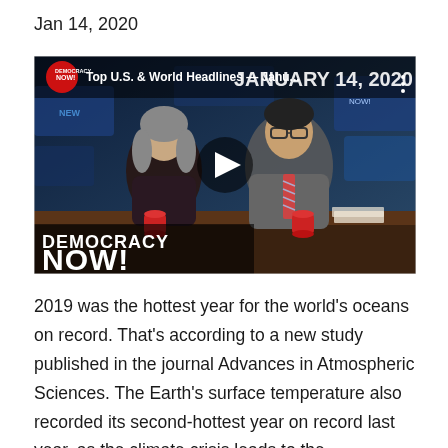Jan 14, 2020
[Figure (screenshot): Democracy Now! video thumbnail showing two news anchors (a woman with gray hair in dark clothing on the left, a man with glasses in a gray suit on the right) sitting at a news desk with a blue studio background. The upper right shows 'JANUARY 14, 2020' and the title reads 'Top U.S. & World Headlines — Janu...' with a play button in the center. The lower left shows the 'DEMOCRACY NOW!' logo in bold white text with a red circle logo.]
2019 was the hottest year for the world's oceans on record. That's according to a new study published in the journal Advances in Atmospheric Sciences. The Earth's surface temperature also recorded its second-hottest year on record last year, as the climate crisis leads to the